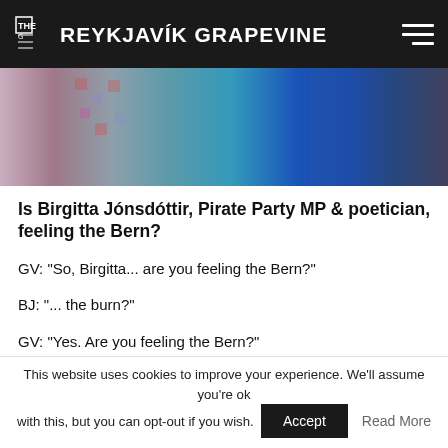THE REYKJAVÍK GRAPEVINE
[Figure (photo): Partial photo showing colorful patterned clothing and people at what appears to be an event or gathering.]
Is Birgitta Jónsdóttir, Pirate Party MP & poetician, feeling the Bern?
GV: "So, Birgitta... are you feeling the Bern?"
BJ: "... the burn?"
GV: "Yes. Are you feeling the Bern?"
BJ: "Not... not really. The burn? No... why?"
GV: "The Bern. Bernie Sanders."
BJ: "FEELING THE BERN! YES! I'm feeling the Bern. I'm Berning up actually. I'm feeling the Bern, and you know
This website uses cookies to improve your experience. We'll assume you're ok with this, but you can opt-out if you wish.